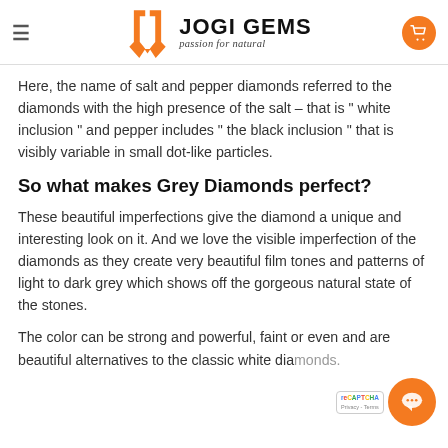JOGI GEMS — passion for natural
Here, the name of salt and pepper diamonds referred to the diamonds with the high presence of the salt – that is " white inclusion " and pepper includes " the black inclusion " that is visibly variable in small dot-like particles.
So what makes Grey Diamonds perfect?
These beautiful imperfections give the diamond a unique and interesting look on it. And we love the visible imperfection of the diamonds as they create very beautiful film tones and patterns of light to dark grey which shows off the gorgeous natural state of the stones.
The color can be strong and powerful, faint or even and are beautiful alternatives to the classic white diamonds.